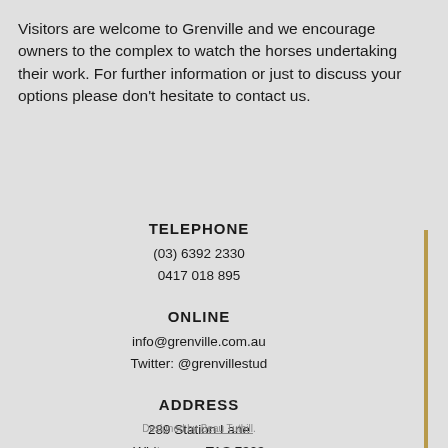Visitors are welcome to Grenville and we encourage owners to the complex to watch the horses undertaking their work. For further information or just to discuss your options please don't hesitate to contact us.
TELEPHONE
(03) 6392 2330
0417 018 895
ONLINE
info@grenville.com.au
Twitter: @grenvillestud
ADDRESS
289 Station Lane
Whitemore, TAS 7303
Designed by Beau Tuthill.